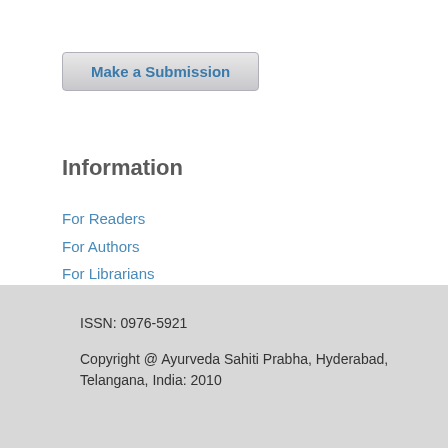[Figure (other): Make a Submission button with grey gradient background and blue text]
Information
For Readers
For Authors
For Librarians
ISSN: 0976-5921

Copyright @ Ayurveda Sahiti Prabha, Hyderabad, Telangana, India: 2010